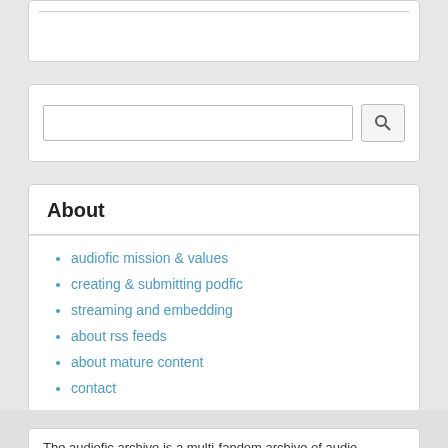[Figure (screenshot): Top white card widget with a horizontal rule line near the top]
[Figure (screenshot): Search bar widget with text input field and search button with magnifying glass icon]
About
audiofic mission & values
creating & submitting podfic
streaming and embedding
about rss feeds
about mature content
contact
The audiofic archive is a multi-fandom archive of audio recordings of fanfiction. The audiofic archive is considered the most comprehensive and largest...